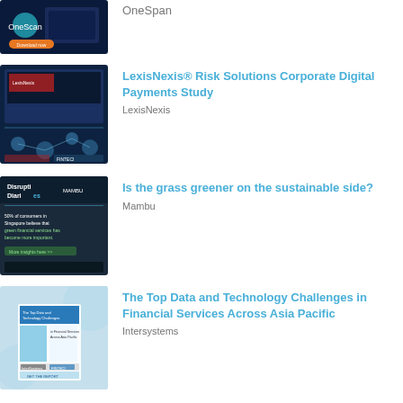[Figure (screenshot): OneSpan promotional thumbnail with OneScan app imagery and Download now button]
OneSpan
[Figure (screenshot): LexisNexis Risk Solutions Corporate Digital Payments Study thumbnail with network diagram]
LexisNexis® Risk Solutions Corporate Digital Payments Study
LexisNexis
[Figure (screenshot): Mambu Disruption Diaries thumbnail - dark background with green financial services text]
Is the grass greener on the sustainable side?
Mambu
[Figure (screenshot): Intersystems Top Data and Technology Challenges in Financial Services Across Asia Pacific thumbnail]
The Top Data and Technology Challenges in Financial Services Across Asia Pacific
Intersystems